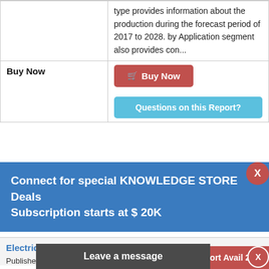type provides information about the production during the forecast period of 2017 to 2028. by Application segment also provides con...
| Buy Now |  |
| --- | --- |
| Buy Now | [Buy Now button] |
Connect for special KNOWLEDGE STORE Deals Subscription starts at $ 20K
Electric Vehicle) Market Research Report 2022
Published in Aug 2022 | US $ 3999 Onwards | By
Buy Any Report Avail 20% Code:
Leave a message